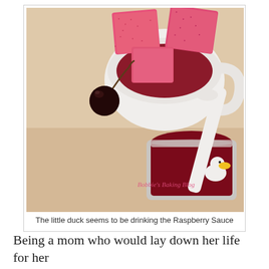[Figure (photo): Overhead food photo showing pink raspberry marshmallow squares in a white mug/bowl, a dark cherry on a wooden surface, a white rubber duck ladle resting in a glass jar filled with deep red raspberry sauce. Watermark text reads 'Bobbie's Baking Blog' in pink cursive.]
The little duck seems to be drinking the Raspberry Sauce
Being a mom who would lay down her life for her